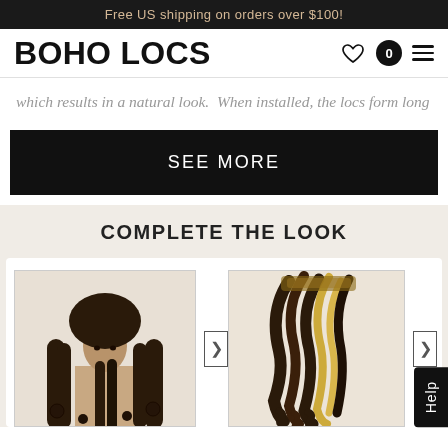Free US shipping on orders over $100!
BOHO LOCS
which results in a natural look.  When installed, the locs form long
SEE MORE
COMPLETE THE LOOK
[Figure (photo): Woman with long dark boho locs hairstyle, full body portrait]
[Figure (photo): Bundle of curly boho locs hair extension in dark brown and blonde tones]